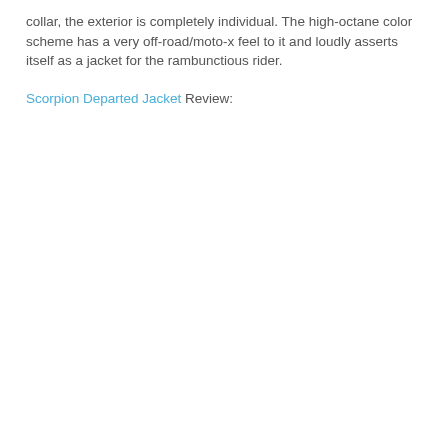collar, the exterior is completely individual. The high-octane color scheme has a very off-road/moto-x feel to it and loudly asserts itself as a jacket for the rambunctious rider.
Scorpion Departed Jacket Review: